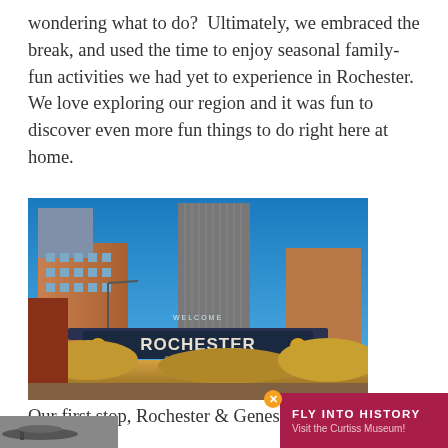wondering what to do?  Ultimately, we embraced the break, and used the time to enjoy seasonal family-fun activities we had yet to experience in Rochester.  We love exploring our region and it was fun to discover even more fun things to do right here at home.
[Figure (photo): Photo of Rochester city skyline with the Welcome to Rochester Center City sign in the foreground, tall glass skyscraper in background, brick buildings, and autumn foliage.]
Our first stop, Rochester & Genesee Valley Railroad
[Figure (photo): Small black and white photo partially visible, appears to show an aircraft or historical scene.]
[Figure (other): Advertisement banner: FLY INTO HISTORY - Visit the Curtiss Museum!]